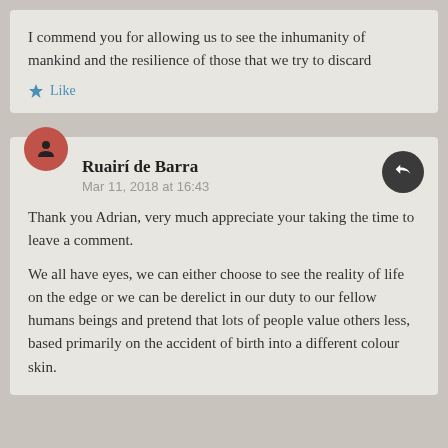I commend you for allowing us to see the inhumanity of mankind and the resilience of those that we try to discard
★ Like
Ruairí de Barra
Mar 11, 2018 at 16:43
Thank you Adrian, very much appreciate your taking the time to leave a comment.
We all have eyes, we can either choose to see the reality of life on the edge or we can be derelict in our duty to our fellow humans beings and pretend that lots of people value others less, based primarily on the accident of birth into a different colour skin.